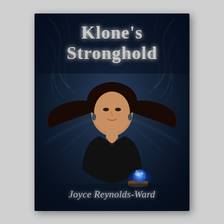[Figure (illustration): Book cover for 'Klone's Stronghold' by Joyce Reynolds-Ward. Dark navy blue background with swirling smoky/energy wisps radiating outward. A woman with dark hair blowing around her stands center, wearing black clothing, holding a glowing blue orb in a wooden bowl. Title text at top in silver serif font; author name at bottom in silver italic font.]